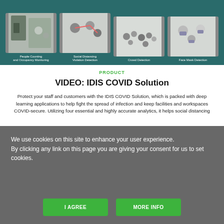[Figure (photo): Four surveillance/AI camera images in a dark teal banner: People Counting and Occupancy Monitoring, Social Distancing Violation Detection, Crowd Detection, Face Mask Detection]
People Counting and Occupancy Monitoring | Social Distancing Violation Detection | Crowd Detection | Face Mask Detection
PRODUCT
VIDEO: IDIS COVID Solution
Protect your staff and customers with the IDIS COVID Solution, which is packed with deep learning applications to help fight the spread of infection and keep facilities and workspaces COVID-secure. Utilizing four essential and highly accurate analytics, it helps social distancing
We use cookies on this site to enhance your user experience.
By clicking any link on this page you are giving your consent for us to set cookies.
I AGREE
MORE INFO